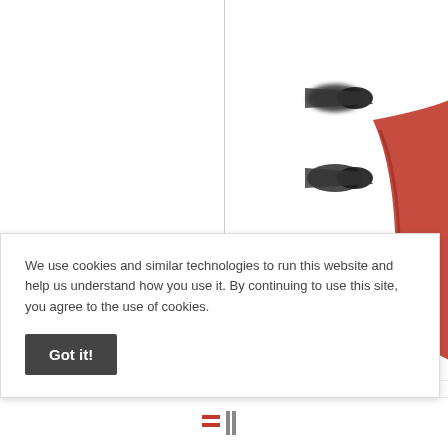[Figure (photo): Product image area (empty/white) for Plier Set Power Grip 5 Pieces]
Plier Set Power Grip 5 Pieces
[Figure (photo): Photo of plier circlip removal tool - three black plier tips visible and red handle, partially cropped]
Plier Circlip Remo
We use cookies and similar technologies to run this website and help us understand how you use it. By continuing to use this site, you agree to the use of cookies.
Got it!